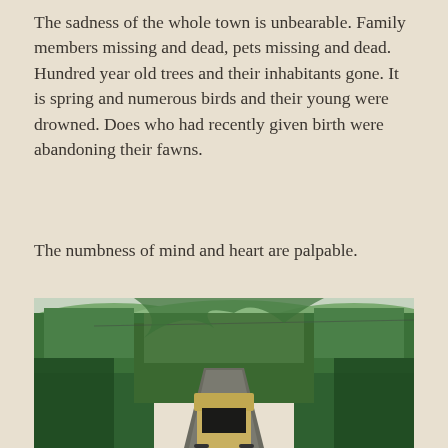The sadness of the whole town is unbearable. Family members missing and dead, pets missing and dead. Hundred year old trees and their inhabitants gone. It is spring and numerous birds and their young were drowned. Does who had recently given birth were abandoning their fawns.
The numbness of mind and heart are palpable.
[Figure (photo): A road lined with dense green trees on both sides, with hills visible in the background. A vehicle (appears to be a tan/khaki colored truck or military-style vehicle) is seen from behind in the center of the road.]